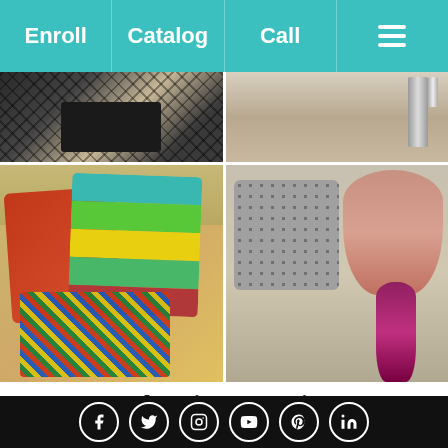Enroll | Catalog | Call | Menu
[Figure (photo): Four-panel photo collage of interior design elements: top-left shows kitchen appliances with patterned backdrop, top-right shows chrome fixtures on stone surface, bottom-left shows colorful throw pillows on a sofa (orange, striped, patterned), bottom-right shows a decorative lamp with pink/coral shade and red glass base beside gray patterned pillows]
Secrets to Shooting Stunning Portfolio Pics for Interior Designers
By: Robin Callan on October 7 2013.
Whether you plan to work for a...
Social media icons: Facebook, Twitter, Instagram, YouTube, Pinterest, LinkedIn